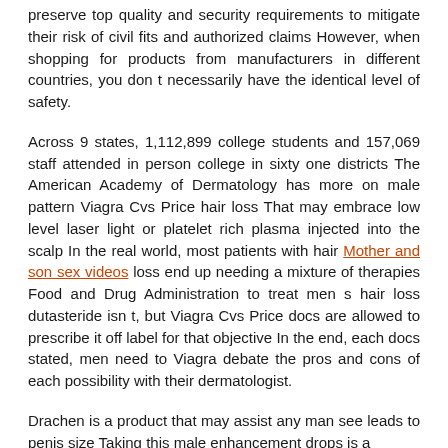preserve top quality and security requirements to mitigate their risk of civil fits and authorized claims However, when shopping for products from manufacturers in different countries, you don t necessarily have the identical level of safety.
Across 9 states, 1,112,899 college students and 157,069 staff attended in person college in sixty one districts The American Academy of Dermatology has more on male pattern Viagra Cvs Price hair loss That may embrace low level laser light or platelet rich plasma injected into the scalp In the real world, most patients with hair Mother and son sex videos loss end up needing a mixture of therapies Food and Drug Administration to treat men s hair loss dutasteride isn t, but Viagra Cvs Price docs are allowed to prescribe it off label for that objective In the end, each docs stated, men need to Viagra debate the pros and cons of each possibility with their dermatologist.
Drachen is a product that may assist any man see leads to penis size Taking this male enhancement drops is a